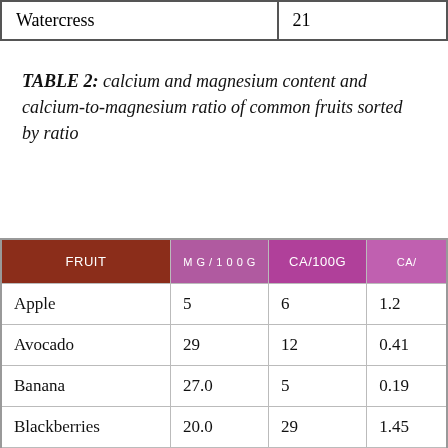| Watercress | 21 |
TABLE 2: calcium and magnesium content and calcium-to-magnesium ratio of common fruits sorted by ratio
| FRUIT | MG/100G | CA/100G | CA/... |
| --- | --- | --- | --- |
| Apple | 5 | 6 | 1.2 |
| Avocado | 29 | 12 | 0.41 |
| Banana | 27.0 | 5 | 0.19 |
| Blackberries | 20.0 | 29 | 1.45 |
| Blueberries | 6 | 6 | 1 |